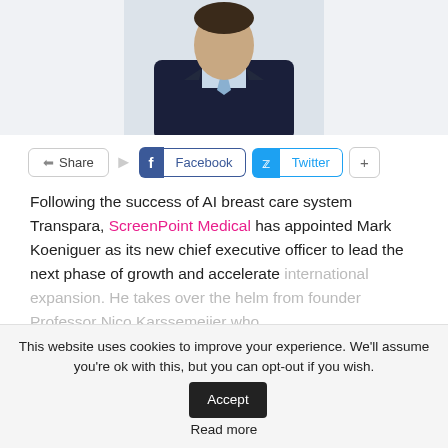[Figure (photo): Partial photo of a man in a dark suit with a light blue tie, cropped at torso level, against a light background.]
Share  Facebook  Twitter  +
Following the success of AI breast care system Transpara, ScreenPoint Medical has appointed Mark Koeniguer as its new chief executive officer to lead the next phase of growth and accelerate international expansion. He takes over the helm from founder Professor Nico Karssemeijer who
CONTINUE READING
This website uses cookies to improve your experience. We'll assume you're ok with this, but you can opt-out if you wish. Accept
Read more